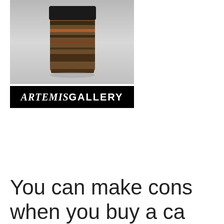[Figure (photo): A carved artifact or totem object with dark and earth-tone coloring, showing a face-like form with black, red, and brown patterns, displayed against a gray gradient background.]
[Figure (logo): Artemis Gallery logo: black rectangle with white text reading ARTEMISGALLERY, where ARTEMIS is in serif italic bold and GALLERY is in sans-serif bold.]
You can make cons when you buy a ca